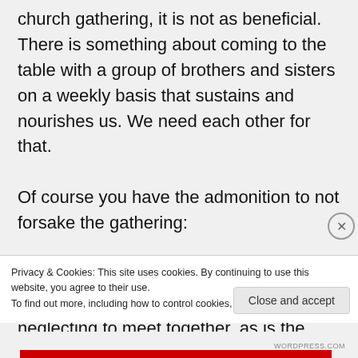church gathering, it is not as beneficial. There is something about coming to the table with a group of brothers and sisters on a weekly basis that sustains and nourishes us. We need each other for that.

Of course you have the admonition to not forsake the gathering:

“And let us consider how to stir up one another to love and good works, not neglecting to meet together, as is the habit
Privacy & Cookies: This site uses cookies. By continuing to use this website, you agree to their use.
To find out more, including how to control cookies, see here: Cookie Policy
Close and accept